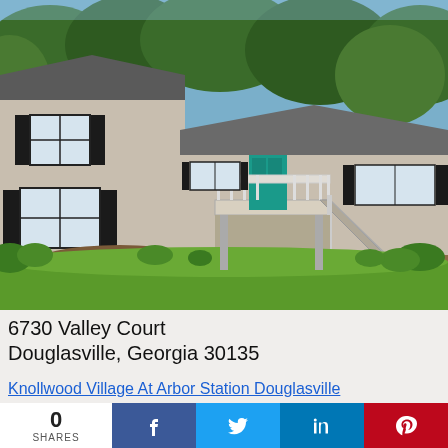[Figure (photo): Exterior photo of a tan/gray split-level house with black shutters, white deck with stairs, surrounded by green lawn and trees, located at 6730 Valley Court, Douglasville, Georgia 30135]
6730 Valley Court
Douglasville, Georgia 30135
Knollwood Village At Arbor Station Douglasville
0
SHARES